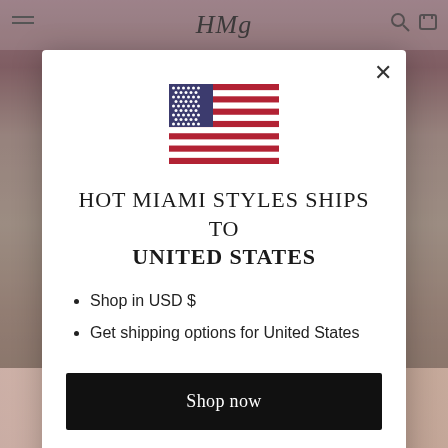[Figure (screenshot): Background showing a fashion website (Hot Miami Styles) with navigation bar, logo, and product images of women in fashion clothing, partially obscured by modal overlay.]
[Figure (illustration): US flag SVG icon centered at top of modal dialog]
HOT MIAMI STYLES SHIPS TO UNITED STATES
Shop in USD $
Get shipping options for United States
Shop now
Change shipping country